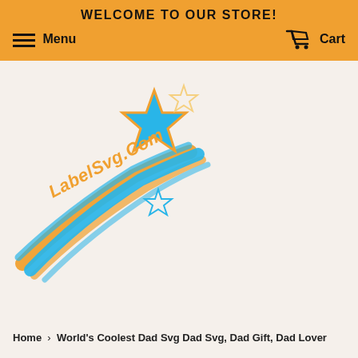WELCOME TO OUR STORE!
Menu  Cart
[Figure (logo): LabelSvg.Com logo: a shooting star with orange and blue swoosh trails and text 'LabelSvg.Com' in orange italic script]
Home › World's Coolest Dad Svg Dad Svg, Dad Gift, Dad Lover